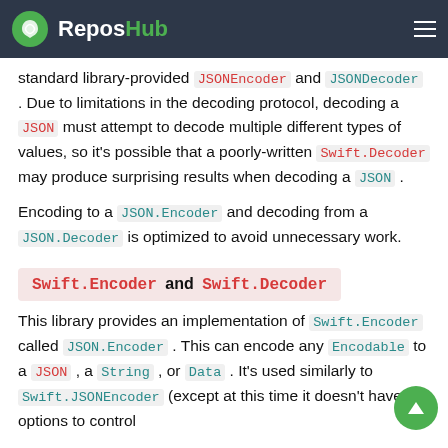ReposHub
standard library-provided JSONEncoder and JSONDecoder . Due to limitations in the decoding protocol, decoding a JSON must attempt to decode multiple different types of values, so it's possible that a poorly-written Swift.Decoder may produce surprising results when decoding a JSON .
Encoding to a JSON.Encoder and decoding from a JSON.Decoder is optimized to avoid unnecessary work.
Swift.Encoder and Swift.Decoder
This library provides an implementation of Swift.Encoder called JSON.Encoder . This can encode any Encodable to a JSON , a String , or Data . It's used similarly to Swift.JSONEncoder (except at this time it doesn't have options to control